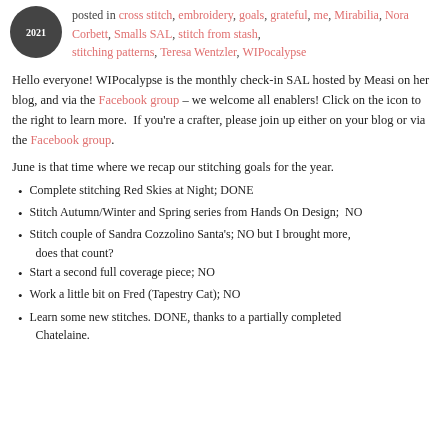posted in cross stitch, embroidery, goals, grateful, me, Mirabilia, Nora Corbett, Smalls SAL, stitch from stash, stitching patterns, Teresa Wentzler, WIPocalypse
Hello everyone! WIPocalypse is the monthly check-in SAL hosted by Measi on her blog, and via the Facebook group – we welcome all enablers! Click on the icon to the right to learn more.  If you're a crafter, please join up either on your blog or via the Facebook group.
June is that time where we recap our stitching goals for the year.
Complete stitching Red Skies at Night; DONE
Stitch Autumn/Winter and Spring series from Hands On Design;  NO
Stitch couple of Sandra Cozzolino Santa's; NO but I brought more, does that count?
Start a second full coverage piece; NO
Work a little bit on Fred (Tapestry Cat); NO
Learn some new stitches. DONE, thanks to a partially completed Chatelaine.